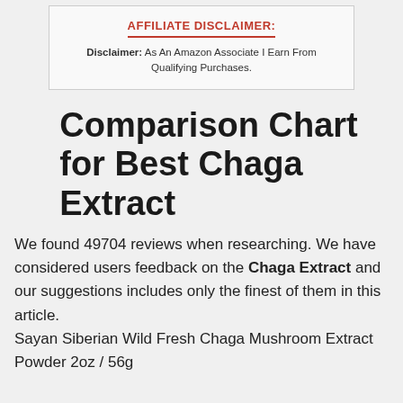AFFILIATE DISCLAIMER: Disclaimer: As An Amazon Associate I Earn From Qualifying Purchases.
Comparison Chart for Best Chaga Extract
We found 49704 reviews when researching. We have considered users feedback on the Chaga Extract and our suggestions includes only the finest of them in this article. Sayan Siberian Wild Fresh Chaga Mushroom Extract Powder 2oz / 56g